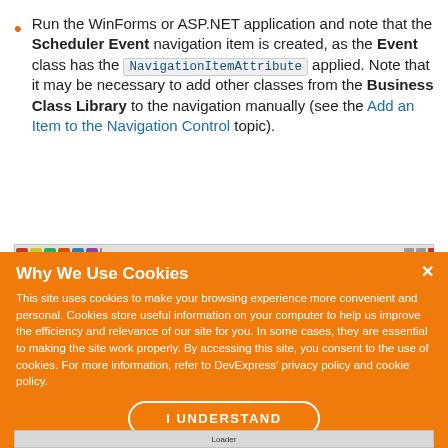Run the WinForms or ASP.NET application and note that the Scheduler Event navigation item is created, as the Event class has the NavigationItemAttribute applied. Note that it may be necessary to add other classes from the Business Class Library to the navigation manually (see the Add an Item to the Navigation Control topic).
[Figure (screenshot): Partial screenshot of a WinForms/ASP.NET application showing a toolbar or navigation bar with title 'Scheduler Event - MainWin...' partially visible]
Why We Use Cookies
This site uses cookies to make your browsing experience more convenient and personal. Cookies store useful information on your computer to help us improve the efficiency and relevance of our site for you. In some cases, they are essential to making the site work properly. By accessing this site, you consent to the use of cookies. For more information, refer to DevExpress' privacy policy and cookie policy.
I UNDERSTAND